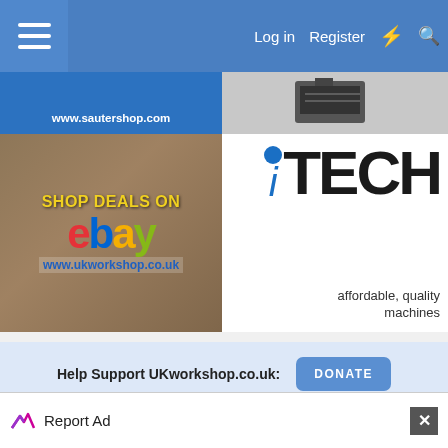[Figure (screenshot): Website navigation bar with hamburger menu, Log in, Register, lightning bolt and search icons on blue background]
[Figure (screenshot): Sauter shop banner ad with www.sautershop.com URL on blue background, and a product image of machinery on grey background]
[Figure (screenshot): eBay shop deals advertisement for www.ukworkshop.co.uk with woodworking background]
[Figure (screenshot): iTech affordable quality machines advertisement with logo and machine image]
Help Support UKworkshop.co.uk:
DONATE
[Figure (screenshot): Report Ad bar with AdChoices logo and close button]